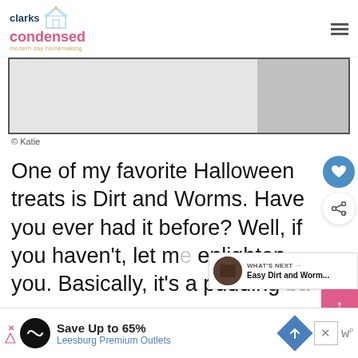clarks condensed — modern day homemaking
[Figure (photo): Placeholder image with light gray and darker gray sections, bordered in dark gray]
© Katie
One of my favorite Halloween treats is Dirt and Worms. Have you ever had it before? Well, if you haven't, let me enlighten you. Basically, it's a pudding bas…